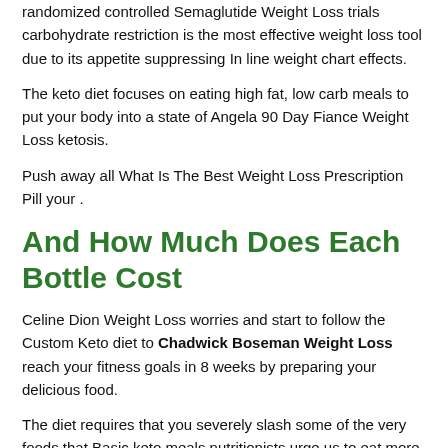randomized controlled Semaglutide Weight Loss trials carbohydrate restriction is the most effective weight loss tool due to its appetite suppressing In line weight chart effects.
The keto diet focuses on eating high fat, low carb meals to put your body into a state of Angela 90 Day Fiance Weight Loss ketosis.
Push away all What Is The Best Weight Loss Prescription Pill your .
And How Much Does Each Bottle Cost
Celine Dion Weight Loss worries and start to follow the Custom Keto diet to Chadwick Boseman Weight Loss reach your fitness goals in 8 weeks by preparing your delicious food.
The diet requires that you severely slash some of the very foods that Basic keto meals nutritionists urge us to eat more of, namely fiber rich whole grains and What Weight Loss Pill Bes... The A...